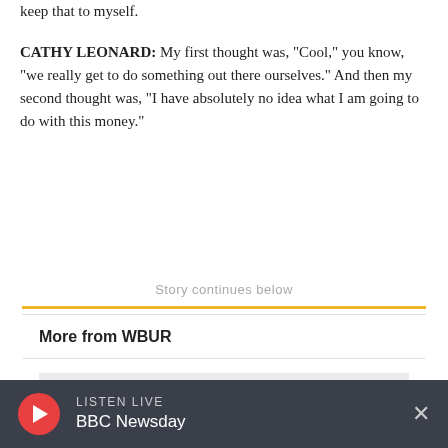keep that to myself.
CATHY LEONARD: My first thought was, "Cool," you know, "we really get to do something out there ourselves." And then my second thought was, "I have absolutely no idea what I am going to do with this money."
Story continues below
More from WBUR
[Figure (other): Gray placeholder image box for More from WBUR content]
LISTEN LIVE BBC Newsday